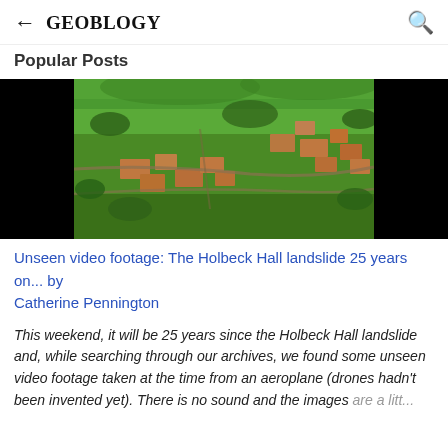← GEOBLOGY
Popular Posts
[Figure (photo): Aerial photograph of Holbeck Hall area showing green landscape with red-brick buildings, fields, and forested hillsides viewed from an aeroplane]
Unseen video footage: The Holbeck Hall landslide 25 years on... by Catherine Pennington
This weekend, it will be 25 years since the Holbeck Hall landslide and, while searching through our archives, we found some unseen video footage taken at the time from an aeroplane (drones hadn't been invented yet).  There is no sound and the images are a litt...